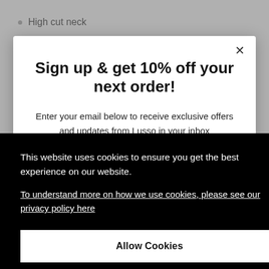High cut neck
Sign up & get 10% off your next order!
Enter your email below to receive exclusive offers and updates from Lusso in your inbox
This website uses cookies to ensure you get the best experience on our website.
To understand more on how we use cookies, please see our privacy policy here
Allow Cookies